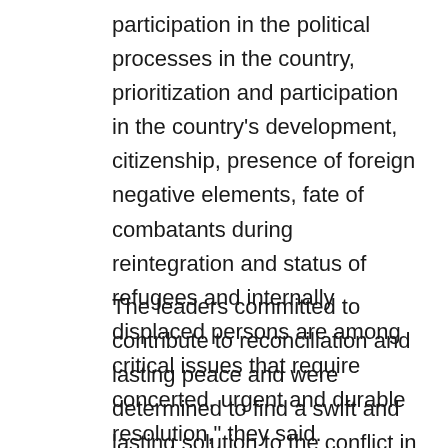participation in the political processes in the country, prioritization and participation in the country's development, citizenship, presence of foreign negative elements, fate of combatants during reintegration and status of refugees and internally displaced persons are among critical issues that require concerted, urgent and durable resolution," they said.
The leaders committed to contribute to reconciliation and lasting peace and were determined to find a swift and lasting solution to the conflict in the DRC, particularly in the North and South Kiv...